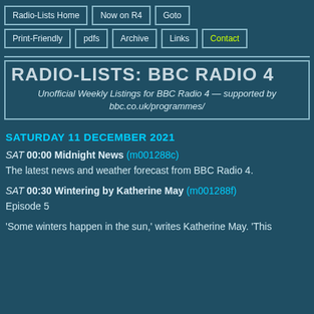Radio-Lists Home | Now on R4 | Goto | Print-Friendly | pdfs | Archive | Links | Contact
RADIO-LISTS: BBC RADIO 4 — Unofficial Weekly Listings for BBC Radio 4 — supported by bbc.co.uk/programmes/
SATURDAY 11 DECEMBER 2021
SAT 00:00 Midnight News (m001288c) The latest news and weather forecast from BBC Radio 4.
SAT 00:30 Wintering by Katherine May (m001288f) Episode 5
'Some winters happen in the sun,' writes Katherine May. 'This